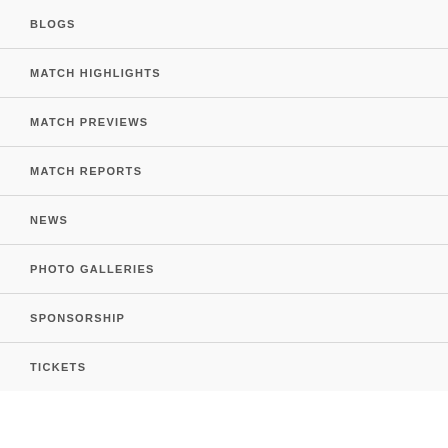BLOGS
MATCH HIGHLIGHTS
MATCH PREVIEWS
MATCH REPORTS
NEWS
PHOTO GALLERIES
SPONSORSHIP
TICKETS